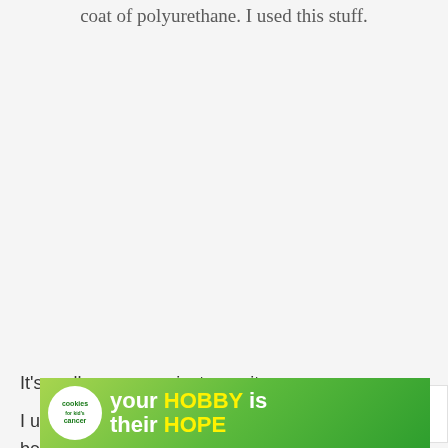coat of polyurethane. I used this stuff.
[Figure (screenshot): Large blank/white-gray area representing a product image placeholder]
[Figure (screenshot): Heart/like button (teal circle with heart icon) showing 366 likes, and a share button below it]
[Figure (screenshot): WHAT'S NEXT callout with thumbnail of dark object and text: DIY Table Refinish-...]
It's really easy, you just pour it on a rag an...
I used two coats. The directions said to sand in between coats but that seemed to much... applied
[Figure (screenshot): Advertisement banner: cookies for kid's cancer — your HOBBY is their HOPE — with green background and close button]